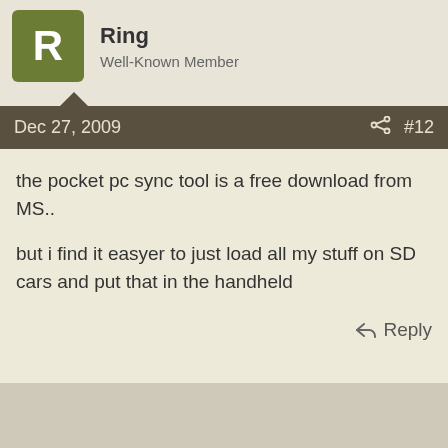Ring
Well-Known Member
Dec 27, 2009  #12
the pocket pc sync tool is a free download from MS..
but i find it easyer to just load all my stuff on SD cars and put that in the handheld
Reply